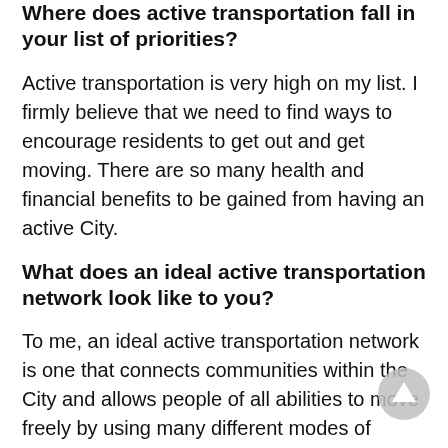Where does active transportation fall in your list of priorities?
Active transportation is very high on my list. I firmly believe that we need to find ways to encourage residents to get out and get moving. There are so many health and financial benefits to be gained from having an active City.
What does an ideal active transportation network look like to you?
To me, an ideal active transportation network is one that connects communities within the City and allows people of all abilities to move freely by using many different modes of